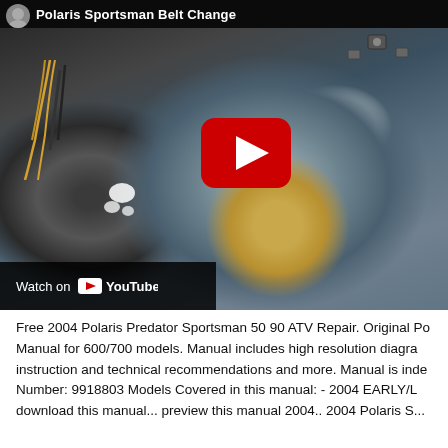[Figure (screenshot): YouTube video thumbnail showing a Polaris Sportsman belt change, featuring a CVT clutch assembly with a brass/gold shaft visible. The video has a large red YouTube play button in the center. A 'Watch on YouTube' bar appears at the bottom left. The title bar at the top reads 'Polaris Sportsman Belt Change'.]
Free 2004 Polaris Predator Sportsman 50 90 ATV Repair. Original Po... Manual for 600/700 models. Manual includes high resolution diagra... instruction and technical recommendations and more. Manual is inde... Number: 9918803 Models Covered in this manual: - 2004 EARLY/L... download this manual... preview this manual 2004.. 2004 Polaris S...